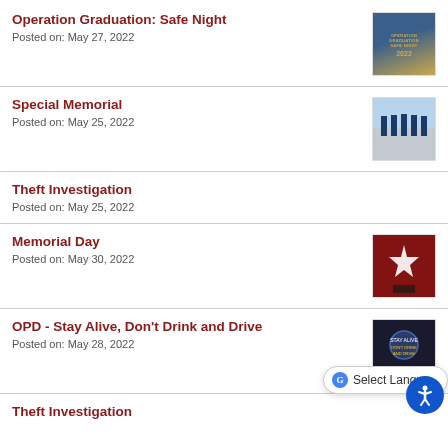Operation Graduation: Safe Night
Posted on: May 27, 2022
[Figure (photo): Operation Graduation Safe Night event flyer]
Special Memorial
Posted on: May 25, 2022
[Figure (photo): Special Memorial event photo with uniformed officers]
Theft Investigation
Posted on: May 25, 2022
Memorial Day
Posted on: May 30, 2022
[Figure (photo): Memorial Day image with American flag and star]
OPD - Stay Alive, Don't Drink and Drive
Posted on: May 28, 2022
[Figure (photo): OPD Stay Alive Don't Drink and Drive graphic]
Theft Investigation